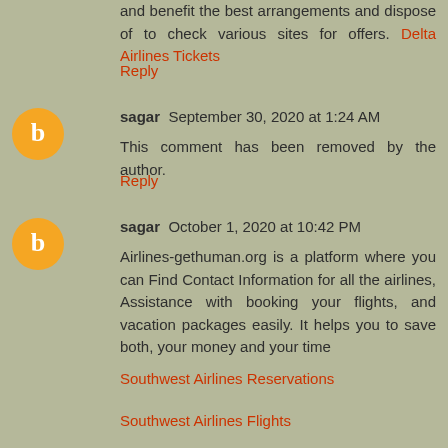and benefit the best arrangements and dispose of to check various sites for offers. Delta Airlines Tickets
Reply
sagar  September 30, 2020 at 1:24 AM
This comment has been removed by the author.
Reply
sagar  October 1, 2020 at 10:42 PM
Airlines-gethuman.org is a platform where you can Find Contact Information for all the airlines, Assistance with booking your flights, and vacation packages easily. It helps you to save both, your money and your time
Southwest Airlines Reservations
Southwest Airlines Flights